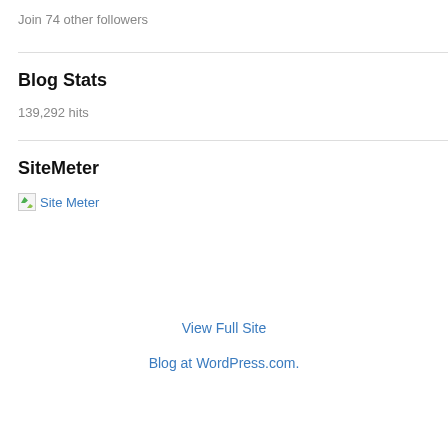Join 74 other followers
Blog Stats
139,292 hits
SiteMeter
Site Meter
View Full Site
Blog at WordPress.com.